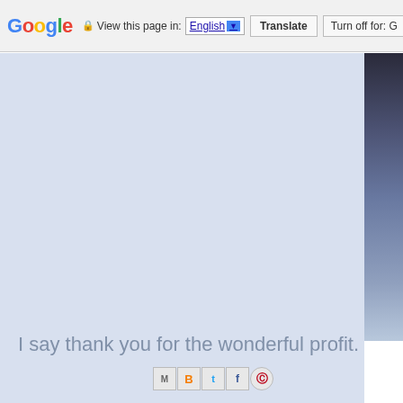Google  View this page in: English [▼]  Translate  Turn off for: G
[Figure (photo): Light blue-gray background area occupying the main content region, with a partial photo visible on the right edge showing a dark outdoor scene]
I say thank you for the wonderful profit.
[Figure (other): Social sharing buttons row: Gmail (M), Blogger (B), Twitter (t), Facebook (f), Pinterest (circle P)]